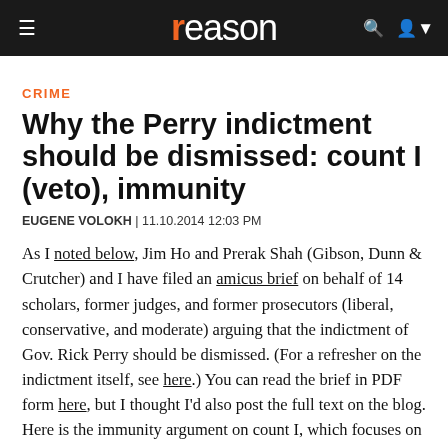reason
CRIME
Why the Perry indictment should be dismissed: count I (veto), immunity
EUGENE VOLOKH | 11.10.2014 12:03 PM
As I noted below, Jim Ho and Prerak Shah (Gibson, Dunn & Crutcher) and I have filed an amicus brief on behalf of 14 scholars, former judges, and former prosecutors (liberal, conservative, and moderate) arguing that the indictment of Gov. Rick Perry should be dismissed. (For a refresher on the indictment itself, see here.) You can read the brief in PDF form here, but I thought I'd also post the full text on the blog. Here is the immunity argument on count I, which focuses on Perry's veto of appropriations